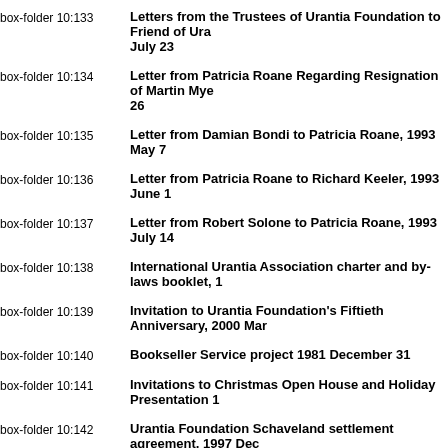box-folder 10:133 Letters from the Trustees of Urantia Foundation to Friend of Urantia, July 23
box-folder 10:134 Letter from Patricia Roane Regarding Resignation of Martin Myers, 26
box-folder 10:135 Letter from Damian Bondi to Patricia Roane, 1993 May 7
box-folder 10:136 Letter from Patricia Roane to Richard Keeler, 1993 June 1
box-folder 10:137 Letter from Robert Solone to Patricia Roane, 1993 July 14
box-folder 10:138 International Urantia Association charter and by-laws booklet, 1
box-folder 10:139 Invitation to Urantia Foundation's Fiftieth Anniversary, 2000 Mar
box-folder 10:140 Bookseller Service project 1981 December 31
box-folder 10:141 Invitations to Christmas Open House and Holiday Presentation 1
box-folder 10:142 Urantia Foundation Schaveland settlement agreement, 1997 Dec
box-folder 10:143 Licensing agreement, undated